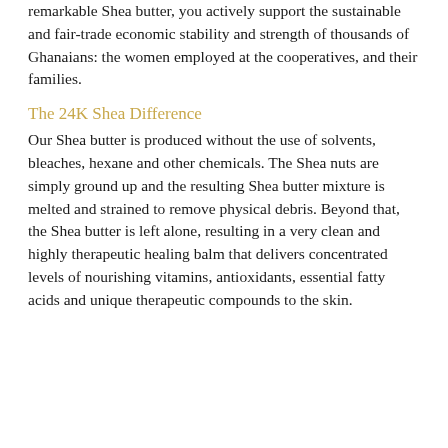remarkable Shea butter, you actively support the sustainable and fair-trade economic stability and strength of thousands of Ghanaians: the women employed at the cooperatives, and their families.
The 24K Shea Difference
Our Shea butter is produced without the use of solvents, bleaches, hexane and other chemicals. The Shea nuts are simply ground up and the resulting Shea butter mixture is melted and strained to remove physical debris. Beyond that, the Shea butter is left alone, resulting in a very clean and highly therapeutic healing balm that delivers concentrated levels of nourishing vitamins, antioxidants, essential fatty acids and unique therapeutic compounds to the skin.